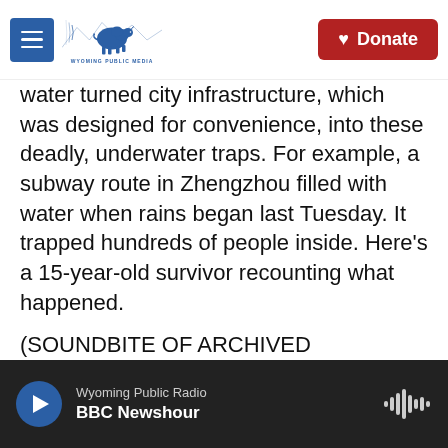Wyoming Public Media | Donate
water turned city infrastructure, which was designed for convenience, into these deadly, underwater traps. For example, a subway route in Zhengzhou filled with water when rains began last Tuesday. It trapped hundreds of people inside. Here’s a 15-year-old survivor recounting what happened.
(SOUNDBITE OF ARCHIVED RECORDING)
UNIDENTIFIED PERSON: (Non-English language spoken).
Wyoming Public Radio
BBC Newshour